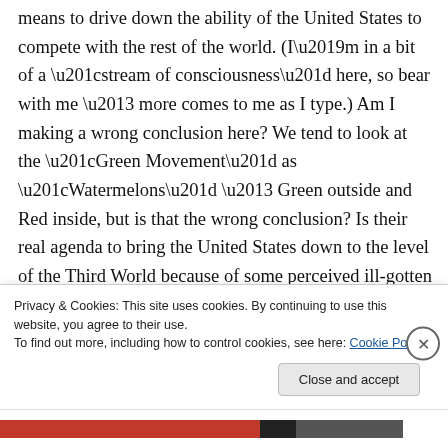means to drive down the ability of the United States to compete with the rest of the world. (I’m in a bit of a “stream of consciousness” here, so bear with me – more comes to me as I type.) Am I making a wrong conclusion here? We tend to look at the “Green Movement” as “Watermelons” – Green outside and Red inside, but is that the wrong conclusion? Is their real agenda to bring the United States down to the level of the Third World because of some perceived ill-gotten gain which has made us rich and powerful?
Privacy & Cookies: This site uses cookies. By continuing to use this website, you agree to their use.
To find out more, including how to control cookies, see here: Cookie Policy
Close and accept